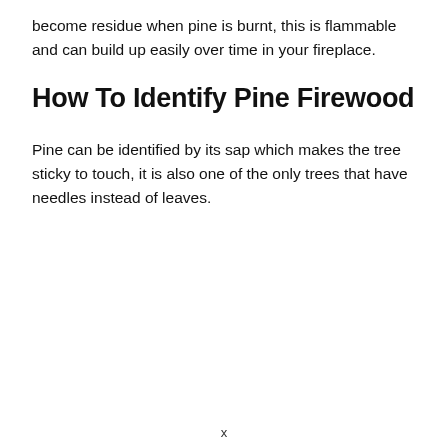become residue when pine is burnt, this is flammable and can build up easily over time in your fireplace.
How To Identify Pine Firewood
Pine can be identified by its sap which makes the tree sticky to touch, it is also one of the only trees that have needles instead of leaves.
x